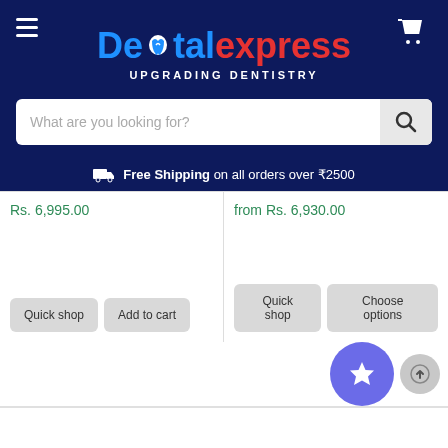[Figure (screenshot): Dental Express website header with logo, hamburger menu, cart icon, search bar, and free shipping banner]
Rs. 6,995.00
from Rs. 6,930.00
Quick shop
Add to cart
Quick shop
Choose options